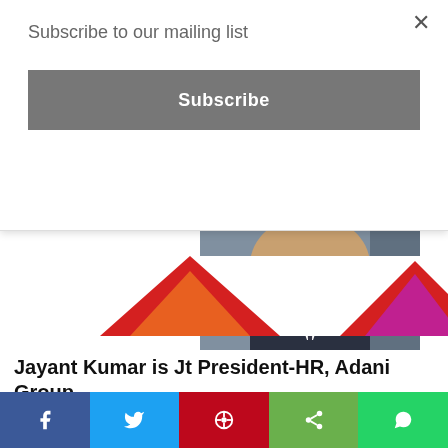Subscribe to our mailing list
Subscribe
[Figure (photo): Close-up photo of a man's face (lower half visible), wearing a suit.]
Movement
Jayant Kumar is Jt President-HR, Adani Group
HRK News Bureau - February 19, 2019
The Adani Group has appointed Jayant Kumar as the Jt president-HR after he quit as chief human resource officer (CHRO) at Tata Power. Kumar had...
[Figure (illustration): Colorful triangular/mountain shapes in red, orange, and magenta at the bottom of the page.]